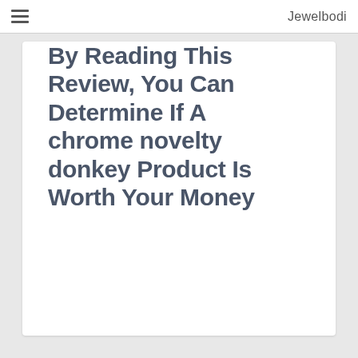Jewelbodi
By Reading This Review, You Can Determine If A chrome novelty donkey Product Is Worth Your Money